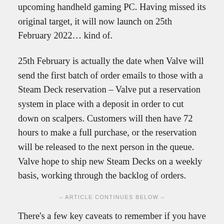upcoming handheld gaming PC. Having missed its original target, it will now launch on 25th February 2022… kind of.
25th February is actually the date when Valve will send the first batch of order emails to those with a Steam Deck reservation – Valve put a reservation system in place with a deposit in order to cut down on scalpers. Customers will then have 72 hours to make a full purchase, or the reservation will be released to the next person in the queue. Valve hope to ship new Steam Decks on a weekly basis, working through the backlog of orders.
– ARTICLE CONTINUES BELOW –
There's a few key caveats to remember if you have a Steam Deck reserved;